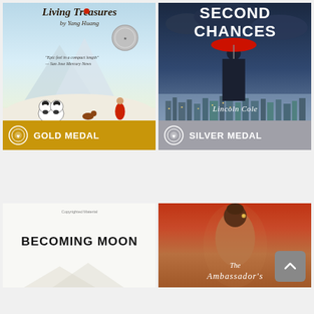[Figure (photo): Book cover: Living Treasures by Yang Huang. Shows a panda, a child in red, chickens in a snowy mountainous landscape. Has a silver medal seal. Gold Medal award bar at bottom.]
[Figure (photo): Book cover: Second Chances by Lincoln Cole. Shows a man from behind holding a red umbrella overlooking a city skyline. Silver Medal award bar at bottom.]
[Figure (photo): Book cover: Becoming Moon. White/minimal cover with text BECOMING MOON in bold black letters.]
[Figure (photo): Book cover: The Ambassador's... (title cut off). Shows a woman from behind with ornate hair accessory, warm red/gold tones.]